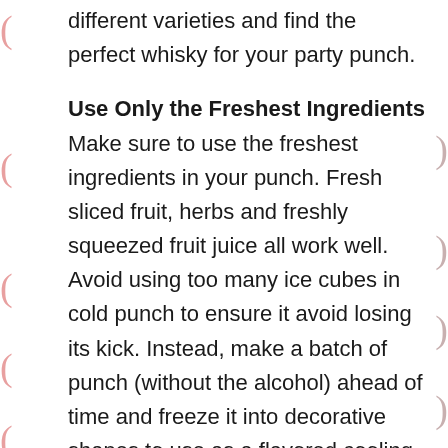different varieties and find the perfect whisky for your party punch.
Use Only the Freshest Ingredients
Make sure to use the freshest ingredients in your punch. Fresh sliced fruit, herbs and freshly squeezed fruit juice all work well. Avoid using too many ice cubes in cold punch to ensure it avoid losing its kick. Instead, make a batch of punch (without the alcohol) ahead of time and freeze it into decorative shapes to use as a flavored cooling agent. You can insert some creativity here by incorporating whole or sliced fruits or fresh herbs, such as mint, into your mold to add a splash of color.